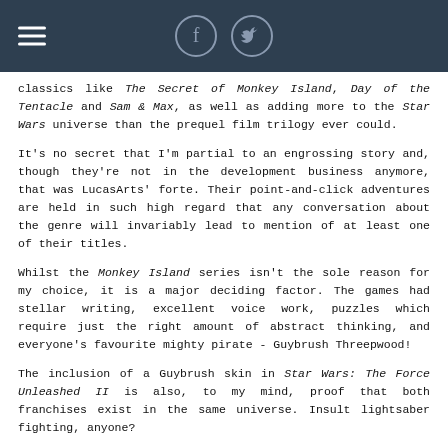Navigation header with hamburger menu, Facebook and Twitter icons
classics like The Secret of Monkey Island, Day of the Tentacle and Sam & Max, as well as adding more to the Star Wars universe than the prequel film trilogy ever could.
It's no secret that I'm partial to an engrossing story and, though they're not in the development business anymore, that was LucasArts' forte. Their point-and-click adventures are held in such high regard that any conversation about the genre will invariably lead to mention of at least one of their titles.
Whilst the Monkey Island series isn't the sole reason for my choice, it is a major deciding factor. The games had stellar writing, excellent voice work, puzzles which require just the right amount of abstract thinking, and everyone's favourite mighty pirate - Guybrush Threepwood!
The inclusion of a Guybrush skin in Star Wars: The Force Unleashed II is also, to my mind, proof that both franchises exist in the same universe. Insult lightsaber fighting, anyone?